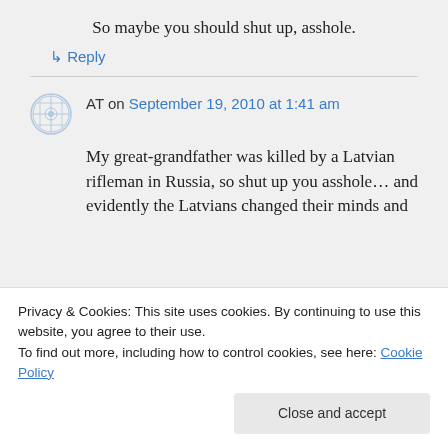So maybe you should shut up, asshole.
↳ Reply
AT on September 19, 2010 at 1:41 am
My great-grandfather was killed by a Latvian rifleman in Russia, so shut up you asshole… and evidently the Latvians changed their minds and
Privacy & Cookies: This site uses cookies. By continuing to use this website, you agree to their use. To find out more, including how to control cookies, see here: Cookie Policy
Close and accept